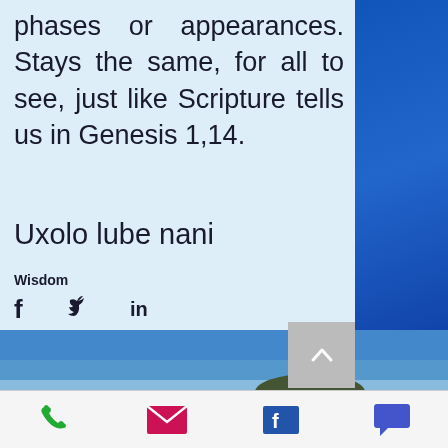phases or appearances. Stays the same, for all to see, just like Scripture tells us in Genesis 1,14.
Uxolo lube nani
Wisdom
[Figure (screenshot): Social sharing icons: Facebook (f), Twitter (bird), LinkedIn (in)]
29 ♥
[Figure (photo): Coastal landscape photo with sea, tidal flats, and distant hills under a blue sky]
Copyright ©
[Figure (screenshot): Mobile bottom navigation bar with phone, email (envelope), Facebook, and chat icons]